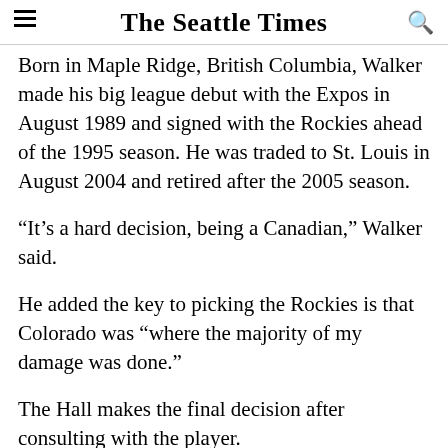The Seattle Times
Born in Maple Ridge, British Columbia, Walker made his big league debut with the Expos in August 1989 and signed with the Rockies ahead of the 1995 season. He was traded to St. Louis in August 2004 and retired after the 2005 season.
“It’s a hard decision, being a Canadian,” Walker said.
He added the key to picking the Rockies is that Colorado was “where the majority of my damage was done.”
The Hall makes the final decision after consulting with the player.
Walker batted .381 with an 1.172 OPS and 154 home runs in 597 games at Coors and .282 with 229 homers